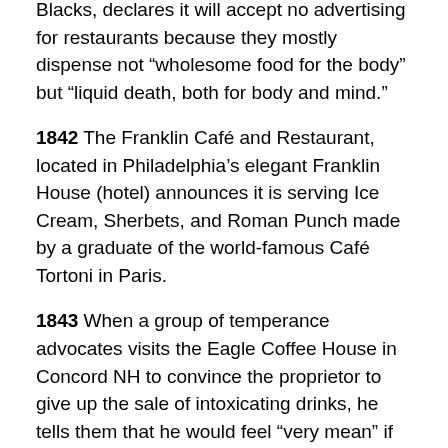Blacks, declares it will accept no advertising for restaurants because they mostly dispense not “wholesome food for the body” but “liquid death, both for body and mind.”
1842 The Franklin Café and Restaurant, located in Philadelphia’s elegant Franklin House (hotel) announces it is serving Ice Cream, Sherbets, and Roman Punch made by a graduate of the world-famous Café Tortoni in Paris.
1843 When a group of temperance advocates visits the Eagle Coffee House in Concord NH to convince the proprietor to give up the sale of intoxicating drinks, he tells them that he would feel “very mean” if he had to refuse a visitor from Boston a drink.
1844 P. B. Brigham announces he has hired the best French and Italian “Artistes” for his Restaurant, Ice Cream,